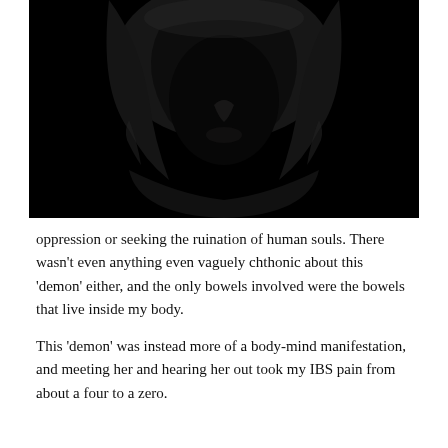[Figure (photo): Dark, dramatic black and white photograph of a hooded figure in shadow. The hood is pulled up and the face is hidden in darkness, with only faint contours of a nose and chin faintly visible. The overall image is very dark with high contrast.]
oppression or seeking the ruination of human souls. There wasn't even anything even vaguely chthonic about this 'demon' either, and the only bowels involved were the bowels that live inside my body.
This 'demon' was instead more of a body-mind manifestation, and meeting her and hearing her out took my IBS pain from about a four to a zero.